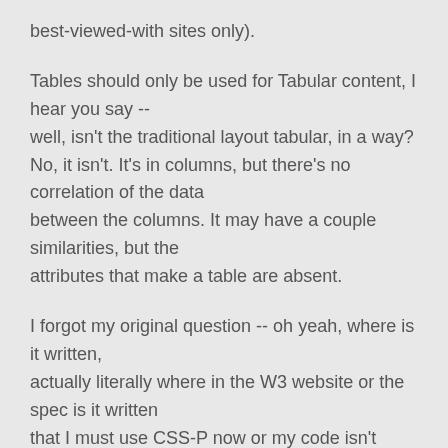best-viewed-with sites only).
Tables should only be used for Tabular content, I hear you say -- well, isn't the traditional layout tabular, in a way? No, it isn't. It's in columns, but there's no correlation of the data between the columns. It may have a couple similarities, but the attributes that make a table are absent.
I forgot my original question -- oh yeah, where is it written, actually literally where in the W3 website or the spec is it written that I must use CSS-P now or my code isn't using standards?